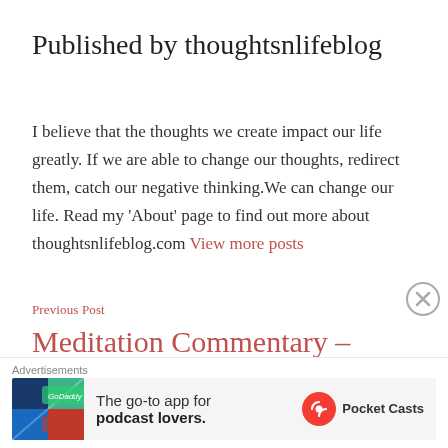Published by thoughtsnlifeblog
I believe that the thoughts we create impact our life greatly. If we are able to change our thoughts, redirect them, catch our negative thinking.We can change our life. Read my 'About' page to find out more about thoughtsnlifeblog.com View more posts
Previous Post
Meditation Commentary – Being Gentle
Advertisements The go-to app for podcast lovers. Pocket Casts